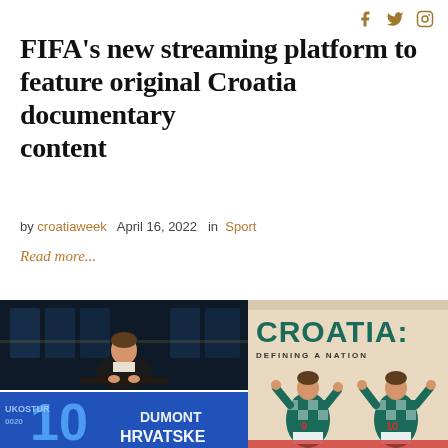social icons: facebook, twitter, instagram
FIFA's new streaming platform to feature original Croatia documentary content
by croatiaweek  April 16, 2022  in  Sport
Read more...
[Figure (photo): Man in dark suit sitting at a desk in a dimly lit studio setting]
[Figure (photo): Blue banner with large number 10 and Croatian text HRVATSKE]
[Figure (illustration): Book/documentary cover: CROATIA: DEFINING A NATION with illustrated players in checkered jerseys celebrating]